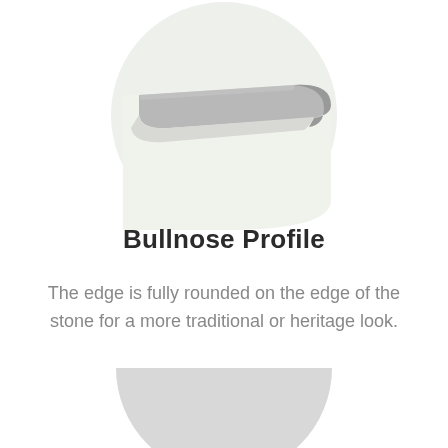[Figure (illustration): Circular diagram showing a bullnose edge profile cross-section. Light gray circle background with a stone slab corner showing a fully rounded top edge in medium gray, and the stone body in light off-white/pale green-gray.]
Bullnose Profile
The edge is fully rounded on the edge of the stone for a more traditional or heritage look.
[Figure (illustration): Partial circle (top portion clipped at page bottom) showing another edge profile diagram, light gray circle.]